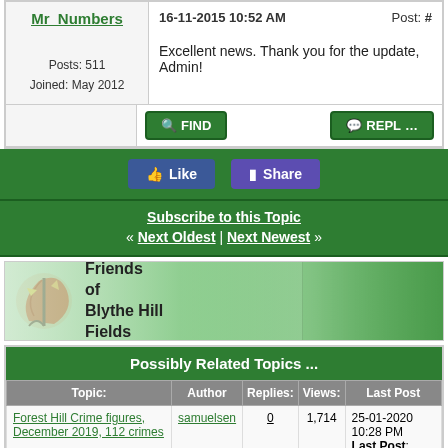Mr_Numbers
16-11-2015 10:52 AM   Post: #
Excellent news. Thank you for the update, Admin!
Posts: 511
Joined: May 2012
FIND   REPLY
Like   Share
Subscribe to this Topic
« Next Oldest | Next Newest »
[Figure (illustration): Friends of Blythe Hill Fields banner with autumn leaf logo and countryside landscape photo]
Possibly Related Topics ...
| Topic: | Author | Replies: | Views: | Last Post |
| --- | --- | --- | --- | --- |
| Forest Hill Crime figures, December 2019, 112 crimes | samuelsen | 0 | 1,714 | 25-01-2020 10:28 PM
Last Post: samuelsen |